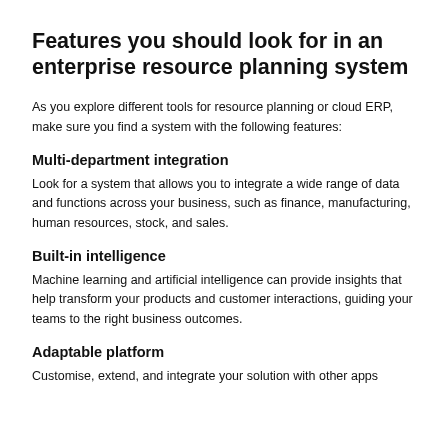Features you should look for in an enterprise resource planning system
As you explore different tools for resource planning or cloud ERP, make sure you find a system with the following features:
Multi-department integration
Look for a system that allows you to integrate a wide range of data and functions across your business, such as finance, manufacturing, human resources, stock, and sales.
Built-in intelligence
Machine learning and artificial intelligence can provide insights that help transform your products and customer interactions, guiding your teams to the right business outcomes.
Adaptable platform
Customise, extend, and integrate your solution with other apps